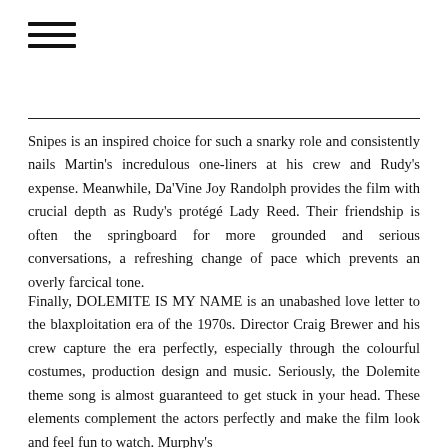[Figure (other): Hamburger menu icon with three horizontal lines]
Snipes is an inspired choice for such a snarky role and consistently nails Martin's incredulous one-liners at his crew and Rudy's expense. Meanwhile, Da'Vine Joy Randolph provides the film with crucial depth as Rudy's protégé Lady Reed. Their friendship is often the springboard for more grounded and serious conversations, a refreshing change of pace which prevents an overly farcical tone.
Finally, DOLEMITE IS MY NAME is an unabashed love letter to the blaxploitation era of the 1970s. Director Craig Brewer and his crew capture the era perfectly, especially through the colourful costumes, production design and music. Seriously, the Dolemite theme song is almost guaranteed to get stuck in your head. These elements complement the actors perfectly and make the film look and feel fun to watch. Murphy's